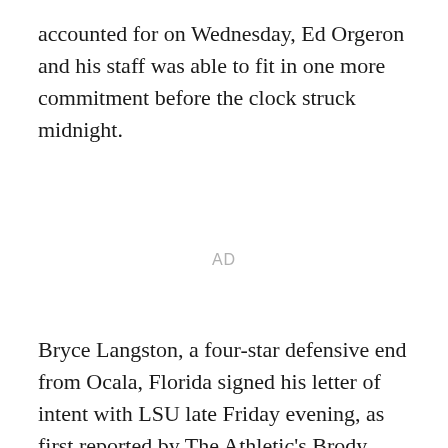accounted for on Wednesday, Ed Orgeron and his staff was able to fit in one more commitment before the clock struck midnight.
AD
Bryce Langston, a four-star defensive end from Ocala, Florida signed his letter of intent with LSU late Friday evening, as first reported by The Athletic's Brody Miller.